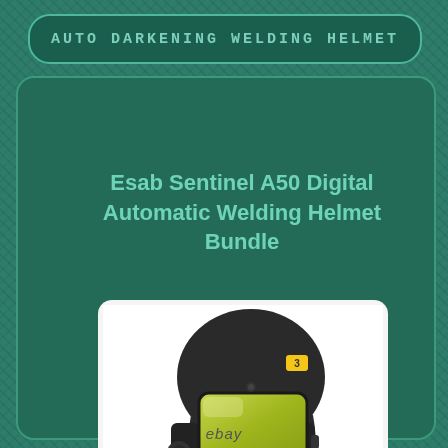Auto Darkening Welding Helmet
Esab Sentinel A50 Digital Automatic Welding Helmet Bundle
[Figure (photo): ESAB Sentinel A50 auto-darkening welding helmet in matte black with yellow-tinted wide-view lens, shown at an angle. 'SENTINEL' branding on front. ESAB logo in yellow on top.]
ebay